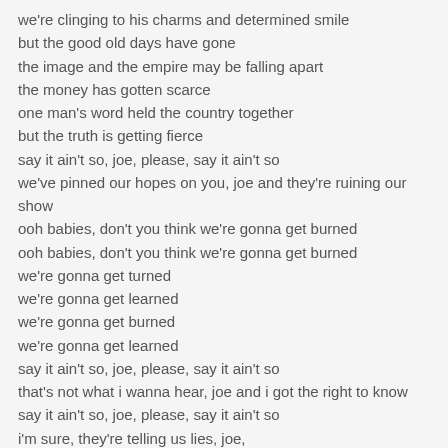we're clinging to his charms and determined smile
but the good old days have gone
the image and the empire may be falling apart
the money has gotten scarce
one man's word held the country together
but the truth is getting fierce
say it ain't so, joe, please, say it ain't so
we've pinned our hopes on you, joe and they're ruining our show
ooh babies, don't you think we're gonna get burned
ooh babies, don't you think we're gonna get burned
we're gonna get turned
we're gonna get learned
we're gonna get burned
we're gonna get learned
say it ain't so, joe, please, say it ain't so
that's not what i wanna hear, joe and i got the right to know
say it ain't so, joe, please, say it ain't so
i'm sure, they're telling us lies, joe,